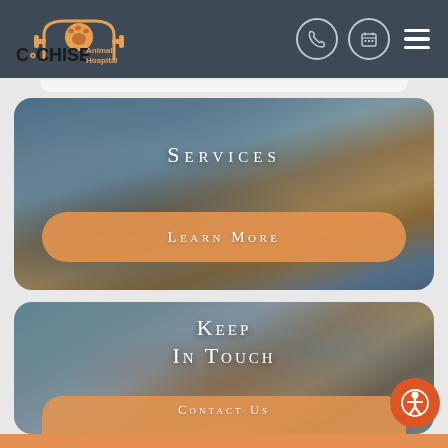[Figure (logo): Cochise Animal Hospital logo with paw print icon and text on dark header background]
[Figure (photo): Photo card showing veterinarian with dog and cat, titled SERVICES with Learn More button]
[Figure (photo): Photo card showing woman with pet, titled KEEP IN TOUCH with Contact Us button partially visible]